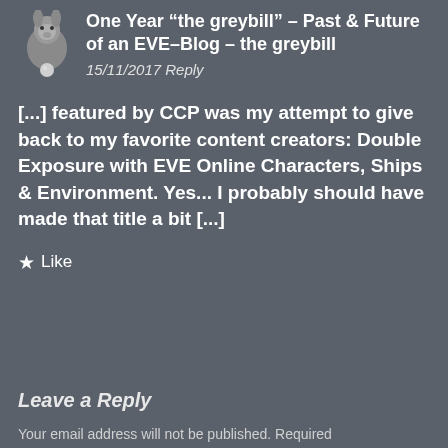[Figure (illustration): Small donkey/stuffed animal avatar image in top-left corner]
One Year “the greybill” – Past & Future of an EVE–Blog – the greybill
15/11/2017 Reply
[...] featured by CCP was my attempt to give back to my favorite content creators: Double Exposure with EVE Online Characters, Ships & Environment. Yes... I probably should have made that title a bit [...]
★ Like
Leave a Reply
Your email address will not be published. Required